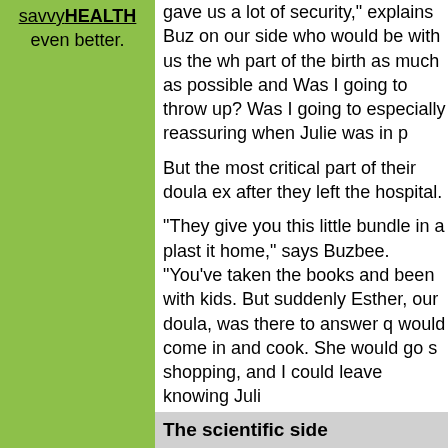savvyHEALTH even better.
gave us a lot of security," explains Buzbee on our side who would be with us the whole part of the birth as much as possible and Was I going to throw up? Was I going to especially reassuring when Julie was in p
But the most critical part of their doula experience came after they left the hospital.
"They give you this little bundle in a plastic [carrier and send you] it home," says Buzbee. "You've taken the classes, you've read the books and been with kids. But suddenly you're in charge. Esther, our doula, was there to answer questions. She would come in and cook. She would go shopping, and I could leave knowing Juli[e was safe].
Aside from that, the doula helped Lewis and Buzbee enjoy the special period of bonding between a fam[ily and a new baby].
"Esther made sure that we had a 'babymoon,'" says Lewis. "She made sure that we weren't besiege[d by well-meaning family] and friends so that Julie, Maddy and I co[uld just get to know] and hang out with each other. She helpe[d protect that time.]
The scientific side